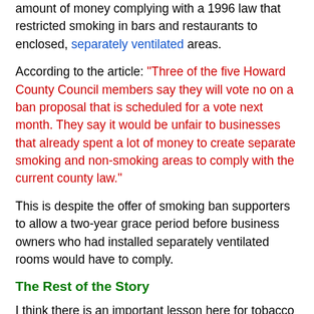amount of money complying with a 1996 law that restricted smoking in bars and restaurants to enclosed, separately ventilated areas.
According to the article: "Three of the five Howard County Council members say they will vote no on a ban proposal that is scheduled for a vote next month. They say it would be unfair to businesses that already spent a lot of money to create separate smoking and non-smoking areas to comply with the current county law."
This is despite the offer of smoking ban supporters to allow a two-year grace period before business owners who had installed separately ventilated rooms would have to comply.
The Rest of the Story
I think there is an important lesson here for tobacco control practitioners. Getting a law passed for the sake of getting a law passed is not necessarily an advancement for the public's health. It could, as it has in this case, actually harm the protection of the public's health.